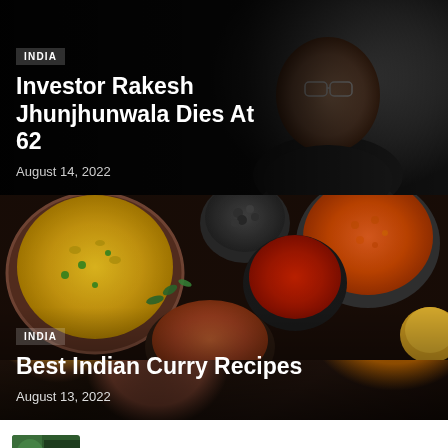[Figure (photo): Dark background photo of a man wearing glasses and a dark vest, Indian investor Rakesh Jhunjhunwala]
INDIA
Investor Rakesh Jhunjhunwala Dies At 62
August 14, 2022
[Figure (photo): Colorful overhead photo of Indian food including yellow rice, red lentils, spices, curry dishes arranged on a dark surface]
INDIA
Best Indian Curry Recipes
August 13, 2022
[Figure (photo): Small thumbnail image with green tones, partial view of another article]